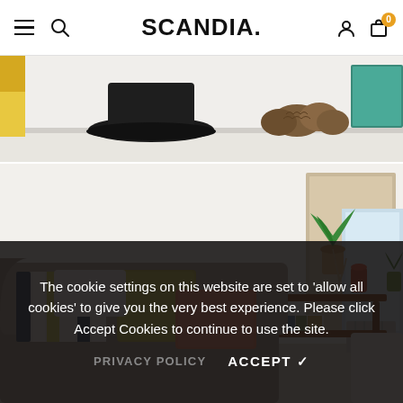SCANDIA.
[Figure (photo): Partial view of a shelf with decorative items including pine cones and a black circular base against a white background]
[Figure (photo): Interior room scene showing a sofa with patterned cushions (striped, yellow, coral/pink) and a corner wooden side table with plants and books, near a window with a radiator]
The cookie settings on this website are set to 'allow all cookies' to give you the very best experience. Please click Accept Cookies to continue to use the site.
PRIVACY POLICY   ACCEPT ✓